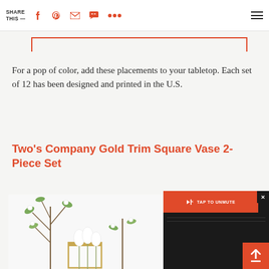SHARE THIS —
For a pop of color, add these placements to your tabletop. Each set of 12 has been designed and printed in the U.S.
Two's Company Gold Trim Square Vase 2-Piece Set
[Figure (photo): Photo of floral arrangement with white flowers and branches in gold-trimmed square vases on white background, partially visible]
[Figure (screenshot): Video overlay with dark background and TAP TO UNMUTE button in red, plus close X button and scroll-up red button]